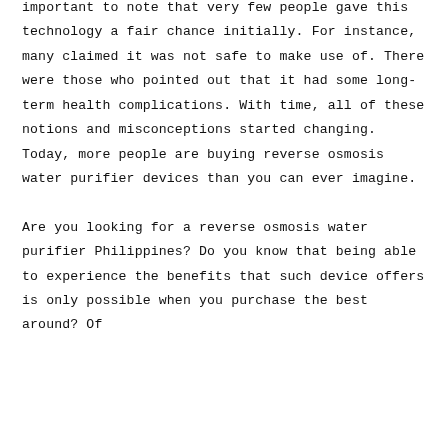important to note that very few people gave this technology a fair chance initially. For instance, many claimed it was not safe to make use of. There were those who pointed out that it had some long-term health complications. With time, all of these notions and misconceptions started changing. Today, more people are buying reverse osmosis water purifier devices than you can ever imagine.

Are you looking for a reverse osmosis water purifier Philippines? Do you know that being able to experience the benefits that such device offers is only possible when you purchase the best around? Of course, this also means buying a kind of RO water